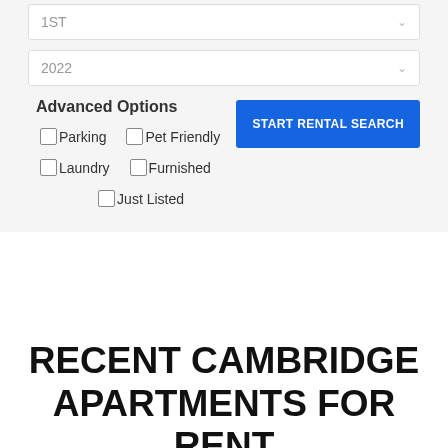1ST
2022
Advanced Options
Parking
Pet Friendly
Laundry
Furnished
Just Listed
START RENTAL SEARCH
RECENT CAMBRIDGE APARTMENTS FOR RENT